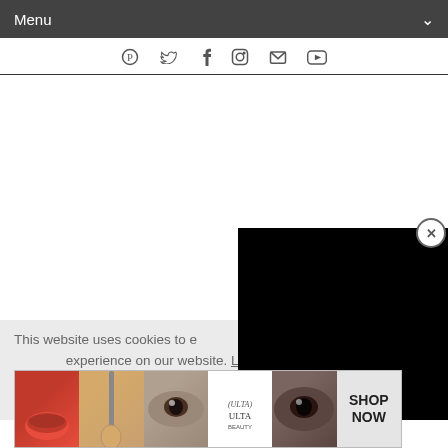Menu
[Figure (screenshot): Social media icons row: Pinterest, Twitter, Facebook, Instagram, Email, YouTube]
[Figure (screenshot): Black video player popup overlay in the right portion of the page]
This website uses cookies to e[nsure you get the best] experience on our website. Learn more
[Figure (screenshot): Got it! blue button and CLOSE gray button]
[Figure (screenshot): Ulta Beauty advertisement banner showing makeup images, Ulta logo, and SHOP NOW text]